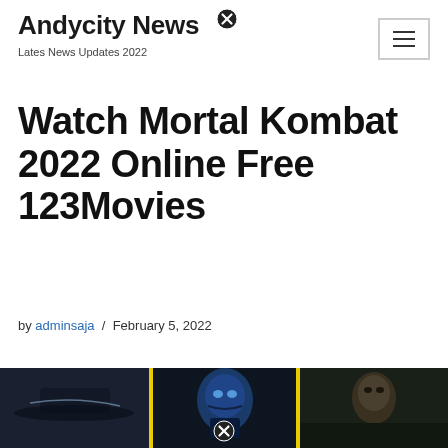Andycity News
Lates News Updates 2022
Watch Mortal Kombat 2022 Online Free 123Movies
by adminsaja / February 5, 2022
[Figure (photo): Three-panel composite image from Mortal Kombat 2022 showing different characters, separated by yellow dividers. A close button icon overlays the center bottom.]